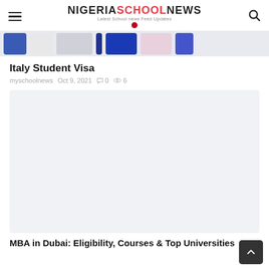NIGERIASCHOOLNEWS - Latest School news Feed Updates
[Figure (screenshot): Colorful banner strip of website article thumbnails]
Italy Student Visa
myschoolnews  Oct 9, 2021  0  6
[Figure (other): Advertisement or placeholder block (light gray)]
MBA in Dubai: Eligibility, Courses & Top Universities